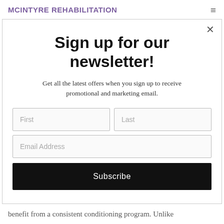MCINTYRE REHABILITATION
Sign up for our newsletter!
Get all the latest offers when you sign up to receive promotional and marketing email.
First Last Email Address Subscribe
benefit from a consistent conditioning program. Unlike